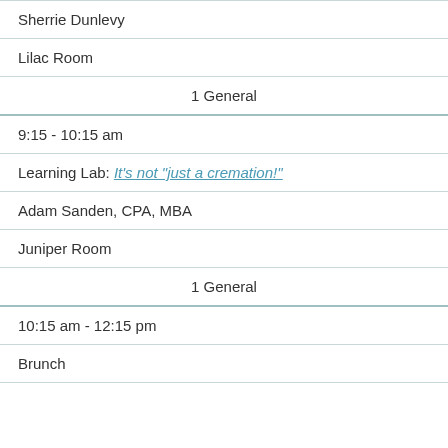| Sherrie Dunlevy |
| Lilac Room |
| 1 General |
| 9:15 - 10:15 am |
| Learning Lab: It's not "just a cremation!" |
| Adam Sanden, CPA, MBA |
| Juniper Room |
| 1 General |
| 10:15 am - 12:15 pm |
| Brunch |